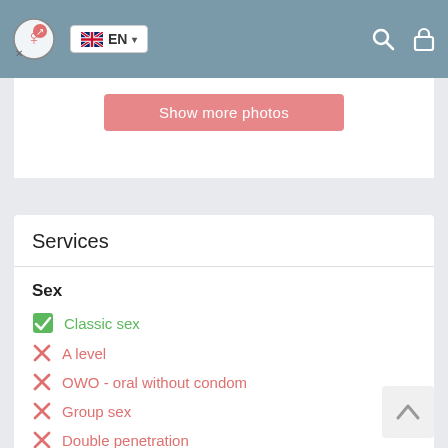EN (language selector with UK flag)
Show more photos
Services
Sex
✓ Classic sex
✗ A level
✗ OWO - oral without condom
✗ Group sex
✗ Double penetration
✗ Toys
✗ Fetish
Additionally
✗ Escort